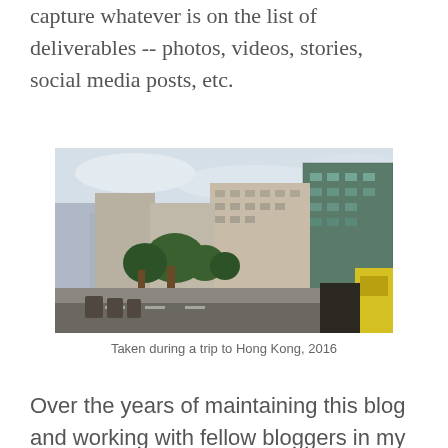capture whatever is on the list of deliverables -- photos, videos, stories, social media posts, etc.
[Figure (photo): Street scene photo taken in Hong Kong in 2016, showing tall residential and commercial buildings, trees, and a street-level view with shops.]
Taken during a trip to Hong Kong, 2016
Over the years of maintaining this blog and working with fellow bloggers in my network, I was able to travel to Palawan, Surigao, Hong Kong, and many others without spending a lot of money. Read...